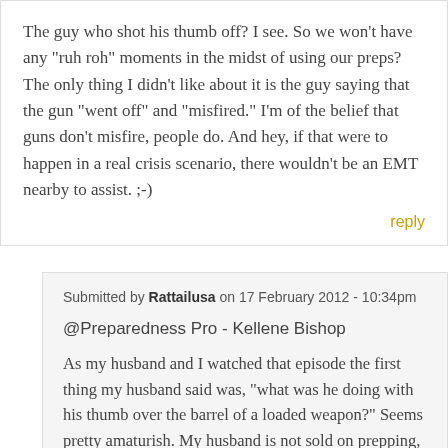The guy who shot his thumb off? I see. So we won't have any "ruh roh" moments in the midst of using our preps? The only thing I didn't like about it is the guy saying that the gun "went off" and "misfired." I'm of the belief that guns don't misfire, people do. And hey, if that were to happen in a real crisis scenario, there wouldn't be an EMT nearby to assist. ;-)
reply
Submitted by Rattailusa on 17 February 2012 - 10:34pm
@Preparedness Pro - Kellene Bishop
As my husband and I watched that episode the first thing my husband said was, "what was he doing with his thumb over the barrel of a loaded weapon?" Seems pretty amaturish. My husband is not sold on prepping, he doesn't mind my "hoarding" food but he